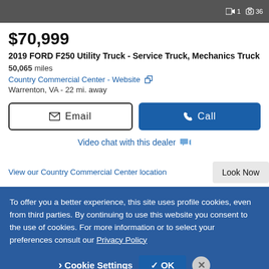[Figure (screenshot): Top portion of a vehicle listing page showing a dark/gray vehicle image with video and photo count indicators: 1 video, 36 photos]
$70,999
2019 FORD F250 Utility Truck - Service Truck, Mechanics Truck
50,065 miles
Country Commercial Center - Website
Warrenton, VA - 22 mi. away
Email
Call
Video chat with this dealer
View our Country Commercial Center location
Look Now
To offer you a better experience, this site uses profile cookies, even from third parties. By continuing to use this website you consent to the use of cookies. For more information or to select your preferences consult our Privacy Policy
Cookie Settings
OK